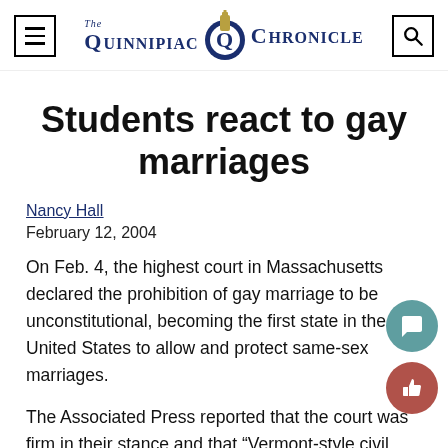The Quinnipiac Chronicle
Students react to gay marriages
Nancy Hall
February 12, 2004
On Feb. 4, the highest court in Massachusetts declared the prohibition of gay marriage to be unconstitutional, becoming the first state in the United States to allow and protect same-sex marriages.
The Associated Press reported that the court was firm in their stance and that “Vermont-style civil unions wouldn’t